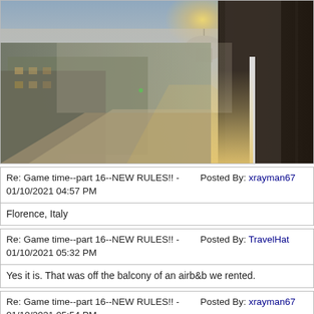[Figure (photo): Aerial view of a European city street at golden hour sunrise/sunset, taken from a balcony. Buildings line both sides of a street receding into the distance. A cathedral dome is visible in the misty background. Dark balcony railing visible on the right. Warm golden light illuminating the scene.]
Re: Game time--part 16--NEW RULES!! - 01/10/2021 04:57 PM	Posted By: xrayman67
Florence, Italy
Re: Game time--part 16--NEW RULES!! - 01/10/2021 05:32 PM	Posted By: TravelHat
Yes it is. That was off the balcony of an airb&b we rented.
Re: Game time--part 16--NEW RULES!! - 01/10/2021 05:54 PM	Posted By: xrayman67